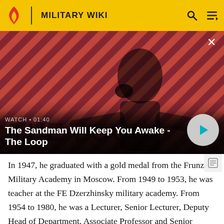MILITARY WIKI
[Figure (screenshot): Video thumbnail showing a dark-clothed figure with a bird on shoulder against a red and black diagonal stripe background. Video title overlay reads 'The Sandman Will Keep You Awake - The Loop' with WATCH • 01:40 label and a play button.]
In 1947, he graduated with a gold medal from the Frunze Military Academy in Moscow. From 1949 to 1953, he was teacher at the FE Dzerzhinsky military academy. From 1954 to 1980, he was a Lecturer, Senior Lecturer, Deputy Head of Department, Associate Professor and Senior Fellow of the MI Kalinin Artillery Academy. From 1980 until